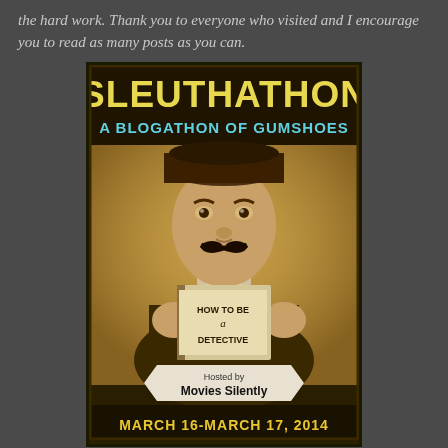the hard work.  Thank you to everyone who visited and I encourage you to read as many posts as you can.
[Figure (illustration): Promotional poster for 'Sleuthathon: A Blogathon of Gumshoes' hosted by Movies Silently, March 16-March 17, 2014. Shows a vintage sepia-toned image of a man with a mustache holding a book titled 'How to Be a Detective'. The poster has yellow stylized title text, teal subtitle text, and yellow date text at the bottom.]